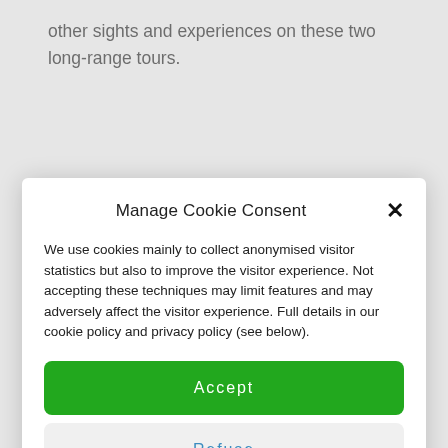other sights and experiences on these two long-range tours.
Manage Cookie Consent
We use cookies mainly to collect anonymised visitor statistics but also to improve the visitor experience. Not accepting these techniques may limit features and may adversely affect the visitor experience. Full details in our cookie policy and privacy policy (see below).
Accept
Refuse
Set preferences
Cookie policy   Privacy Policy